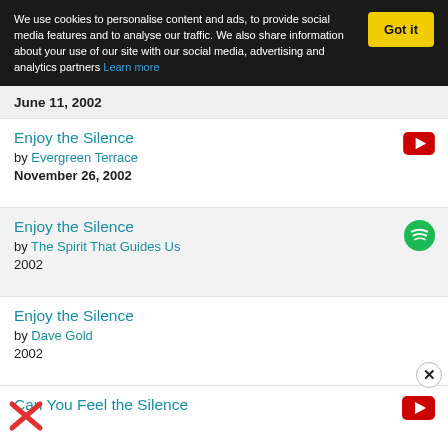We use cookies to personalise content and ads, to provide social media features and to analyse our traffic. We also share information about your use of our site with our social media, advertising and analytics partners Learn more
June 11, 2002
Enjoy the Silence by Evergreen Terrace November 26, 2002
Enjoy the Silence by The Spirit That Guides Us 2002
Enjoy the Silence by Dave Gold 2002
Can You Feel the Silence